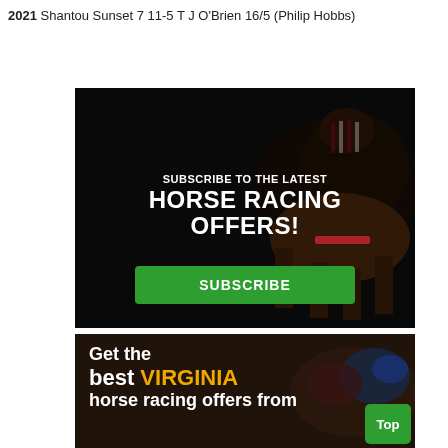2021 Shantou Sunset 7 11-5 T J O'Brien 16/5 (Philip Hobbs)
[Figure (infographic): Dark background advertisement banner showing a jockey on a horse. Text reads: SUBSCRIBE TO THE LATEST HORSE RACING OFFERS! with a green SUBSCRIBE button below.]
[Figure (infographic): Dark brown background advertisement banner with jockeys. Text reads: Get the best VIRGINIA horse racing offers from]